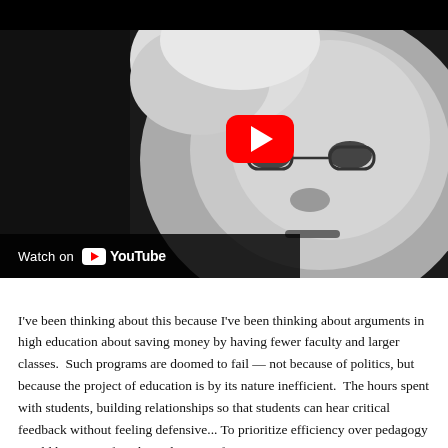[Figure (screenshot): Black and white close-up photograph of an elderly person with glasses and curly white hair, shown as a YouTube video thumbnail with a red play button in the center and a 'Watch on YouTube' bar at the bottom left.]
I've been thinking about this because I've been thinking about arguments in high education about saving money by having fewer faculty and larger classes.  Such programs are doomed to fail — not because of politics, but because the project of education is by its nature inefficient.  The hours spent with students, building relationships so that students can hear critical feedback without feeling defensive...  To prioritize efficiency over pedagogy would be to sacrifice the pedagogy.  If our go...